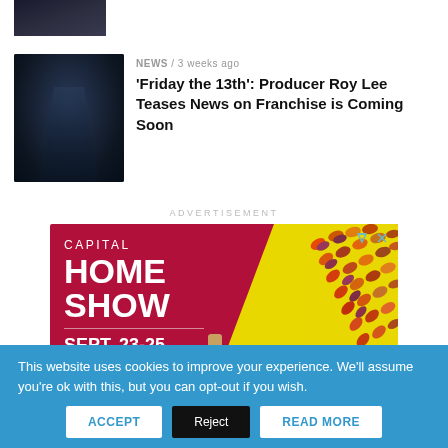[Figure (photo): Partial thumbnail of a dark image at top]
NEWS / 3 weeks ago
'Friday the 13th': Producer Roy Lee Teases News on Franchise is Coming Soon
[Figure (photo): Dark horror movie still showing a masked figure (Jason Voorhees) against a cloudy sky]
ADVERTISEMENT
[Figure (other): Capital Home Show advertisement banner. CAPITAL HOME SHOW. SEPT. 23-25. DULLES EXPO CENTER. See hundreds of exhibitors! SAVE $3 NOW.]
This website uses cookies to improve your experience. We'll assume you're ok with this, but you can opt-out if you wish.
ACCEPT | Reject | READ MORE